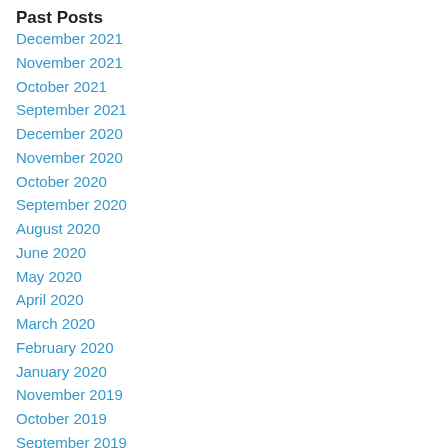Past Posts
December 2021
November 2021
October 2021
September 2021
December 2020
November 2020
October 2020
September 2020
August 2020
June 2020
May 2020
April 2020
March 2020
February 2020
January 2020
November 2019
October 2019
September 2019
August 2019